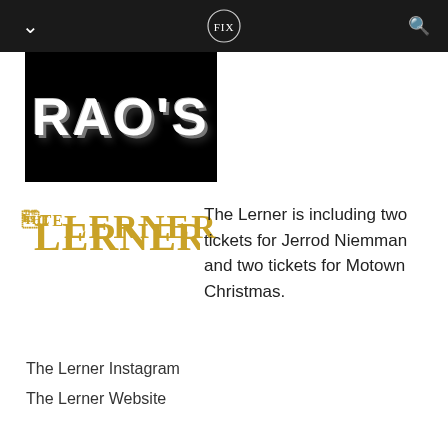FIX (navigation bar with logo)
[Figure (photo): Black background image showing large white bold text reading RAO'S with a 3D drop-shadow effect]
[Figure (logo): THE LERNER logo in gold serif font]
The Lerner is including two tickets for Jerrod Niemman and two tickets for Motown Christmas.
The Lerner Instagram
The Lerner Website